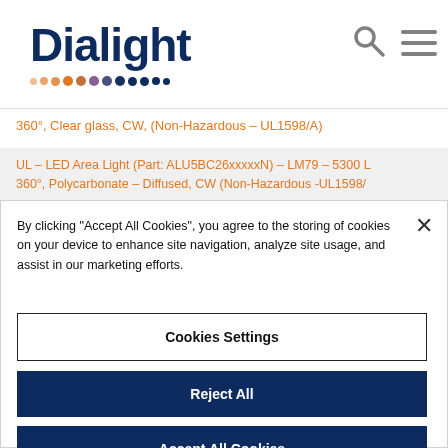[Figure (logo): Dialight company logo with text 'Dialight' in dark navy blue with decorative dot pattern below]
360°, Clear glass, CW, (Non-Hazardous – UL1598/A)
UL – LED Area Light (Part: ALU5BC26xxxxxN) – LM79 – 5300 L 360°, Polycarbonate – Diffused, CW (Non-Hazardous -UL1598/
By clicking "Accept All Cookies", you agree to the storing of cookies on your device to enhance site navigation, analyze site usage, and assist in our marketing efforts.
Cookies Settings
Reject All
Accept All Cookies